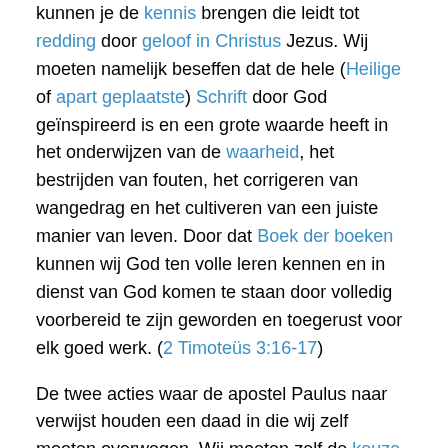kunnen je de kennis brengen die leidt tot redding door geloof in Christus Jezus. Wij moeten namelijk beseffen dat de hele (Heilige of apart geplaatste) Schrift door God geïnspireerd is en een grote waarde heeft in het onderwijzen van de waarheid, het bestrijden van fouten, het corrigeren van wangedrag en het cultiveren van een juiste manier van leven. Door dat Boek der boeken kunnen wij God ten volle leren kennen en in dienst van God komen te staan door volledig voorbereid te zijn geworden en toegerust voor elk goed werk. (2 Timoteüs 3:16-17)
De twee acties waar de apostel Paulus naar verwijst houden een daad in die wij zelf moeten overwegen. Wij moeten zelf de keuze maken óf wij de wereld willen blijven toebehoren, óf tot Jezus willen komen en zijn Zoenoffer willen aanvaarden als het redding brengende offer voor